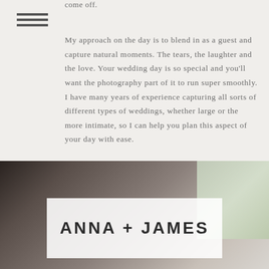come off.
My approach on the day is to blend in as a guest and capture natural moments. The tears, the laughter and the love. Your wedding day is so special and you'll want the photography part of it to run super smoothly. I have many years of experience capturing all sorts of different types of weddings, whether large or the more intimate, so I can help you plan this aspect of your day with ease.
[Figure (photo): Wedding photograph showing a person from behind in a light-filled room with windows, overlaid with a white semi-transparent card displaying 'ANNA + JAMES']
ANNA + JAMES